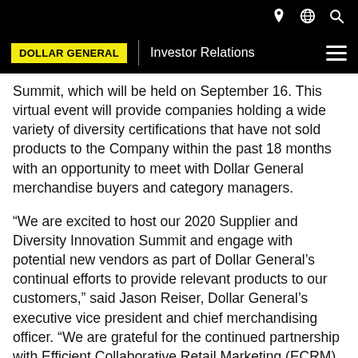DOLLAR GENERAL | Investor Relations
Summit, which will be held on September 16. This virtual event will provide companies holding a wide variety of diversity certifications that have not sold products to the Company within the past 18 months with an opportunity to meet with Dollar General merchandise buyers and category managers.
“We are excited to host our 2020 Supplier and Diversity Innovation Summit and engage with potential new vendors as part of Dollar General’s continual efforts to provide relevant products to our customers,” said Jason Reiser, Dollar General’s executive vice president and chief merchandising officer. “We are grateful for the continued partnership with Efficient Collaborative Retail Marketing (ECRM) to support these ongoing efforts,